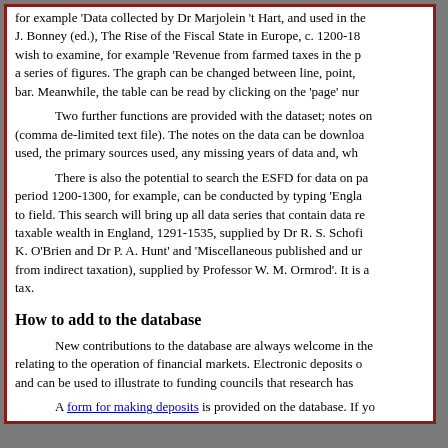for example 'Data collected by Dr Marjolein 't Hart, and used in the J. Bonney (ed.), The Rise of the Fiscal State in Europe, c. 1200-18 wish to examine, for example 'Revenue from farmed taxes in the p a series of figures. The graph can be changed between line, point, bar. Meanwhile, the table can be read by clicking on the 'page' nur
Two further functions are provided with the dataset; notes on (comma de-limited text file). The notes on the data can be downloa used, the primary sources used, any missing years of data and, wh
There is also the potential to search the ESFD for data on pa period 1200-1300, for example, can be conducted by typing 'Engla to field. This search will bring up all data series that contain data re taxable wealth in England, 1291-1535, supplied by Dr R. S. Schofi K. O'Brien and Dr P. A. Hunt' and 'Miscellaneous published and ur from indirect taxation), supplied by Professor W. M. Ormrod'. It is a tax.
How to add to the database
New contributions to the database are always welcome in the relating to the operation of financial markets. Electronic deposits o and can be used to illustrate to funding councils that research has
A form for making deposits is provided on the database. If yo an Excel file, accompanied by a brief list of the primary sources us discussed.